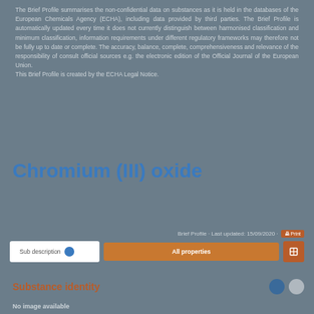The Brief Profile summarises the non-confidential data on substances as it is held in the databases of the European Chemicals Agency (ECHA), including data provided by third parties. The Brief Profile is automatically updated every time it does not currently distinguish between harmonised classification and minimum classification, information requirements under different regulatory frameworks may therefore not be fully up to date or complete. The accuracy, balance, complete, comprehensiveness and relevance of the responsibility of consult official sources e.g. the electronic edition of the Official Journal of the European Union. This Brief Profile is created by the ECHA Legal Notice.
Chromium (III) oxide
Brief Profile · Last updated: 15/09/2020 · Print
Sub description
Substance identity
No image available